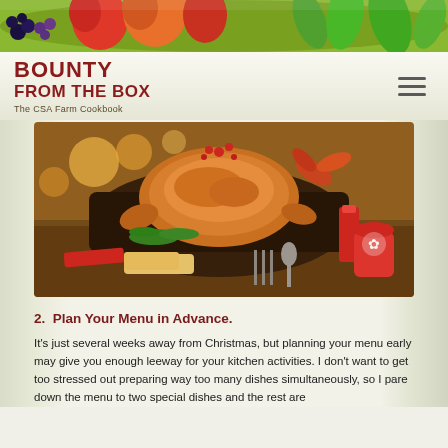[Figure (photo): Decorative fruit banner at top of page showing blackberries, grapes, apples, and green leaves on a colorful background]
BOUNTY FROM THE BOX
The CSA Farm Cookbook
[Figure (photo): A roasted turkey or chicken on a dark roasting pan surrounded by garnishes, red berries, fall leaves, candles, and a jar with snowflake decoration on a wooden table]
2.  Plan Your Menu in Advance.
It's just several weeks away from Christmas, but planning your menu early may give you enough leeway for your kitchen activities. I don't want to get too stressed out preparing way too many dishes simultaneously, so I pare down the menu to two special dishes and the rest are